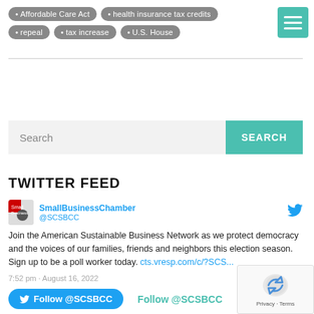Affordable Care Act
health insurance tax credits
repeal
tax increase
U.S. House
[Figure (other): Teal hamburger menu icon with three horizontal white lines]
[Figure (other): Search bar with text input field and teal SEARCH button]
TWITTER FEED
SmallBusinessChamber @SCSBCC
Join the American Sustainable Business Network as we protect democracy and the voices of our families, friends and neighbors this election season. Sign up to be a poll worker today. cts.vresp.com/c/?SCS...
7:52 pm · August 16, 2022
Follow @SCSBCC
Follow @SCSBCC